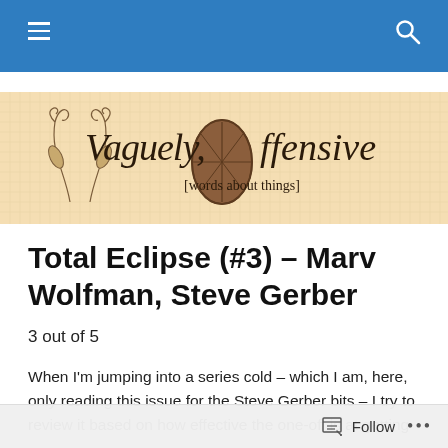Vaguely Offensive [words about things] — navigation bar
[Figure (illustration): Blog banner image with cursive text 'Vaguely Offensive [words about things]' on a tan/wheat background with decorative plant and medallion illustrations]
Total Eclipse (#3) – Marv Wolfman, Steve Gerber
3 out of 5
When I'm jumping into a series cold – which I am, here, only reading this issue for the Steve Gerber bits – I try to review it based on how effective the one-off is at getting
Follow •••